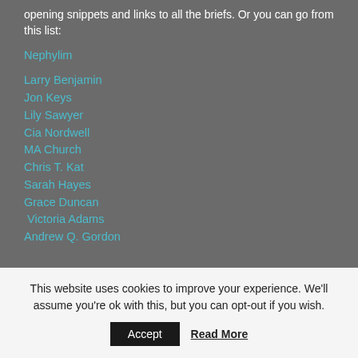opening snippets and links to all the briefs. Or you can go from this list:
Nephylim
Larry Benjamin
Jon Keys
Lily Sawyer
Cia Nordwell
MA Church
Chris T. Kat
Sarah Hayes
Grace Duncan
Victoria Adams
Andrew Q. Gordon
This website uses cookies to improve your experience. We'll assume you're ok with this, but you can opt-out if you wish.